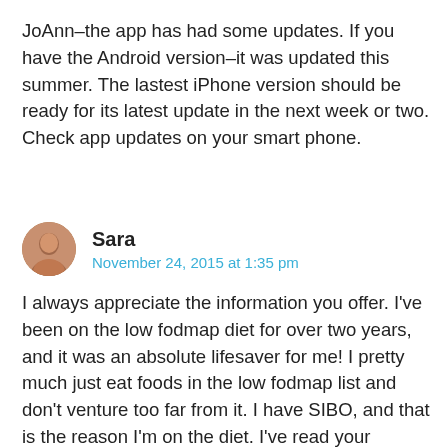JoAnn–the app has had some updates. If you have the Android version–it was updated this summer. The lastest iPhone version should be ready for its latest update in the next week or two. Check app updates on your smart phone.
Sara
November 24, 2015 at 1:35 pm
I always appreciate the information you offer. I've been on the low fodmap diet for over two years, and it was an absolute lifesaver for me! I pretty much just eat foods in the low fodmap list and don't venture too far from it. I have SIBO, and that is the reason I'm on the diet. I've read your fabulous articles on SIBO and the low fodmap diet, and they were hugely helpful to me. I did all the antibiotic regimens the docs put me on, and they would